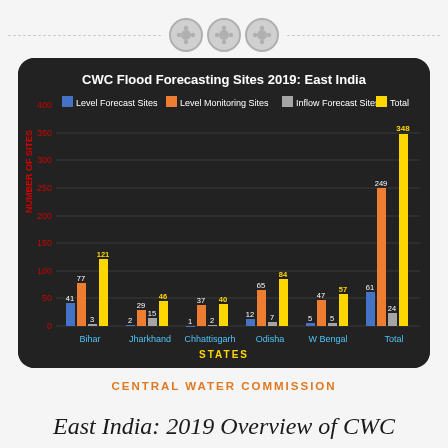[Figure (grouped-bar-chart): CWC Flood Forecasting Sites 2019: East India]
CENTRAL WATER COMMISSION
East India: 2019 Overview of CWC